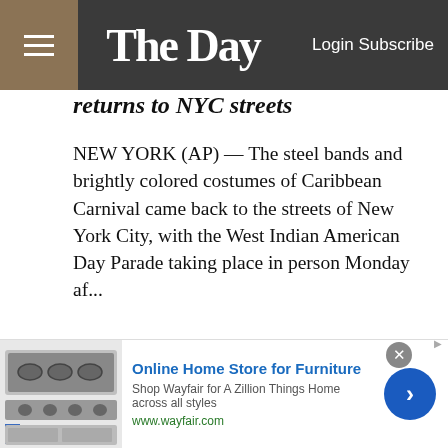The Day — Login Subscribe
returns to NYC streets
NEW YORK (AP) — The steel bands and brightly colored costumes of Caribbean Carnival came back to the streets of New York City, with the West Indian American Day Parade taking place in person Monday af...
[Figure (photo): Silhouetted figures against a bare winter tree and blue sky, with equipment or instruments visible]
[Figure (photo): Advertisement thumbnail showing kitchen appliances/furniture for Wayfair]
Online Home Store for Furniture
Shop Wayfair for A Zillion Things Home across all styles
www.wayfair.com